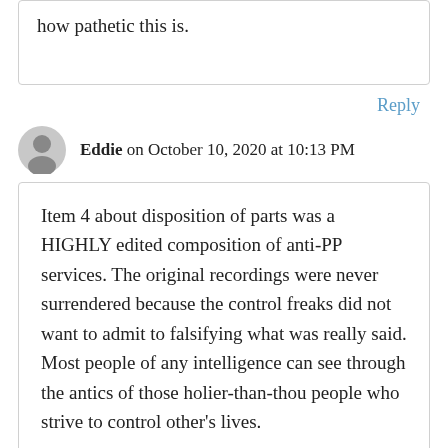how pathetic this is.
Reply
Eddie on October 10, 2020 at 10:13 PM
Item 4 about disposition of parts was a HIGHLY edited composition of anti-PP services. The original recordings were never surrendered because the control freaks did not want to admit to falsifying what was really said. Most people of any intelligence can see through the antics of those holier-than-thou people who strive to control other's lives.